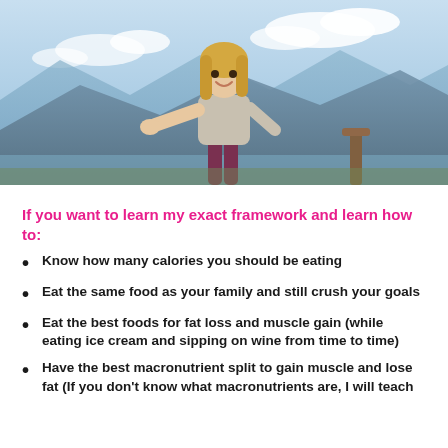[Figure (photo): A smiling blonde woman outdoors pointing at the camera, with mountains and blue sky in the background]
If you want to learn my exact framework and learn how to:
Know how many calories you should be eating
Eat the same food as your family and still crush your goals
Eat the best foods for fat loss and muscle gain (while eating ice cream and sipping on wine from time to time)
Have the best macronutrient split to gain muscle and lose fat (If you don't know what macronutrients are, I will teach